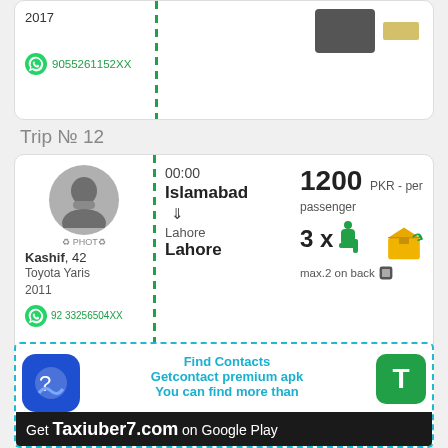2017
9055261152XX
Trip № 12
00:00
Islamabad
↓
Lahore
Lahore
1200 PKR - per passenger
3 x
max.2 on back
Kashif, 42
Toyota Yaris
2011
92 33256504XX
Find Contacts
Getcontact premium apk
You can find more than
Get Taxiuber7.com on Google Play